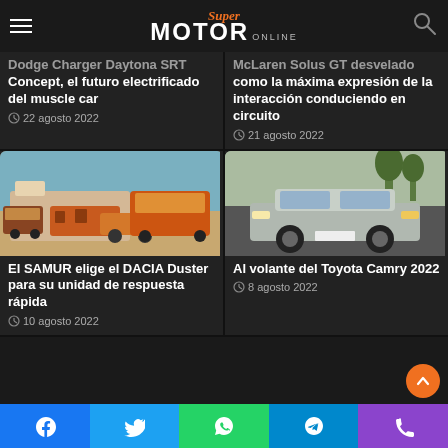Super MOTOR online
[Figure (photo): Dodge Charger Daytona SRT Concept - dark background, header area image]
Dodge Charger Daytona SRT Concept, el futuro electrificado del muscle car
22 agosto 2022
[Figure (photo): McLaren Solus GT - dark background, header area image]
McLaren Solus GT desvelado como la máxima expresión de la interacción conduciendo en circuito
21 agosto 2022
[Figure (photo): Dacia Duster SAMUR vehicles parked outside a building]
El SAMUR elige el DACIA Duster para su unidad de respuesta rápida
10 agosto 2022
[Figure (photo): Toyota Camry 2022 silver sedan on a road]
Al volante del Toyota Camry 2022
8 agosto 2022